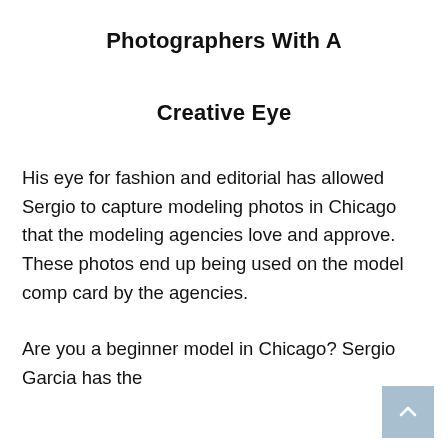Photographers With A
Creative Eye
His eye for fashion and editorial has allowed Sergio to capture modeling photos in Chicago that the modeling agencies love and approve. These photos end up being used on the model comp card by the agencies.
Are you a beginner model in Chicago? Sergio Garcia has the